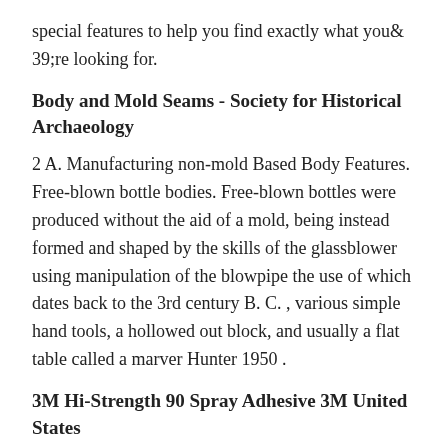special features to help you find exactly what you& 39;re looking for.
Body and Mold Seams - Society for Historical Archaeology
2 A. Manufacturing non-mold Based Body Features. Free-blown bottle bodies. Free-blown bottles were produced without the aid of a mold, being instead formed and shaped by the skills of the glassblower using manipulation of the blowpipe the use of which dates back to the 3rd century B. C. , various simple hand tools, a hollowed out block, and usually a flat table called a marver Hunter 1950 .
3M Hi-Strength 90 Spray Adhesive 3M United States
2 3M Hi-Strength 90 Spray Adhesive is an extremely versatile, fast-drying spray adhesive that bonds strongly to a wide range of materials. Our pressure-based adhesive